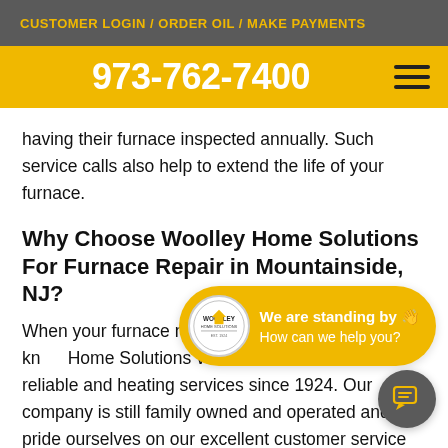CUSTOMER LOGIN / ORDER OIL / MAKE PAYMENTS
973-762-7400
having their furnace inspected annually. Such service calls also help to extend the life of your furnace.
Why Choose Woolley Home Solutions For Furnace Repair in Mountainside, NJ?
When your furnace needs repair company you know Woolley Home Solutions We've been providing you with reliable and heating services since 1924. Our company is still family owned and operated and we pride ourselves on our excellent customer service
[Figure (other): Chat widget overlay with Woolley Home Solutions logo, text 'We are standing by' and 'How can we help you?', and a chat icon button.]